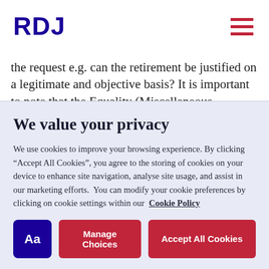RDJ
the request e.g. can the retirement be justified on a legitimate and objective basis? It is important to note that the Equality (Miscellaneous Provisions) Act 2015 requires that a fixed-term contract post-
We value your privacy
We use cookies to improve your browsing experience. By clicking “Accept All Cookies”, you agree to the storing of cookies on your device to enhance site navigation, analyse site usage, and assist in our marketing efforts. You can modify your cookie preferences by clicking on cookie settings within our Cookie Policy